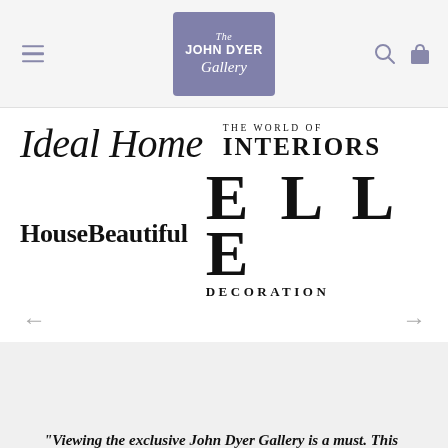The John Dyer Gallery
[Figure (logo): The John Dyer Gallery logo - purple/mauve square with white handwritten text]
[Figure (logo): Ideal Home magazine logo in serif italic font]
[Figure (logo): The World of Interiors magazine logo in serif uppercase]
[Figure (logo): HouseBeautiful magazine logo in bold serif font]
[Figure (logo): ELLE DECORATION magazine logo in large serif bold letters]
"Viewing the exclusive John Dyer Gallery is a must. This established art gallery deals in the